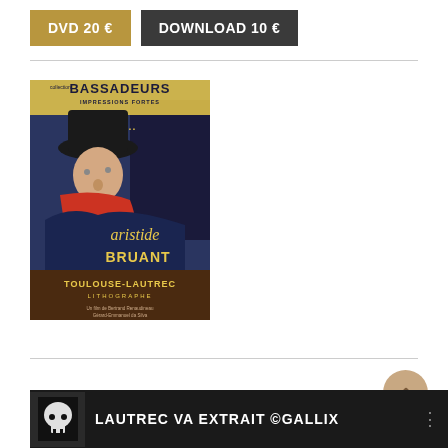DVD 20 €
DOWNLOAD 10 €
[Figure (photo): DVD cover for 'Toulouse-Lautrec Lithographe' featuring the Ambassadeurs poster with Aristide Bruant in a black hat and red scarf. Collection Impressions Fortes. Un film de Bertrand Renaudineau, Gérard-Emmanuel da Silva.]
LAUTREC VA EXTRAIT ©GALLIX